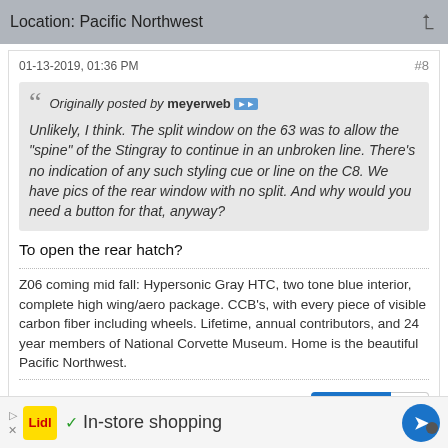Location: Pacific Northwest
01-13-2019, 01:36 PM   #8
Originally posted by meyerweb
Unlikely, I think. The split window on the 63 was to allow the "spine" of the Stingray to continue in an unbroken line. There's no indication of any such styling cue or line on the C8. We have pics of the rear window with no split. And why would you need a button for that, anyway?
To open the rear hatch?
Z06 coming mid fall: Hypersonic Gray HTC, two tone blue interior, complete high wing/aero package. CCB's, with every piece of visible carbon fiber including wheels. Lifetime, annual contributors, and 24 year members of National Corvette Museum. Home is the beautiful Pacific Northwest.
Likes  1
In-store shopping